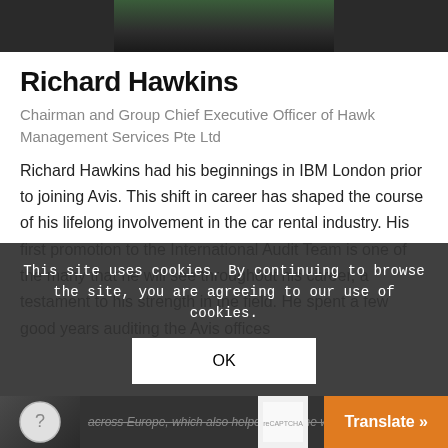[Figure (photo): Partial photo of Richard Hawkins at the top of the page, dark/green background, cropped strip]
Richard Hawkins
Chairman and Group Chief Executive Officer of Hawk Management Services Pte Ltd
Richard Hawkins had his beginnings in IBM London prior to joining Avis. This shift in career has shaped the course of his lifelong involvement in the car rental industry. His first promotion to the International Audit Team is one of the many that he will see throughout his career, a testament to his strength in the field. He spent a few good years auditing the Avis offices across Europe, which also helped pave the way for
As time progressed, it dawned on him that the rental business holds the key to take hi...
This site uses cookies. By continuing to browse the site, you are agreeing to our use of cookies.
OK
Translate »